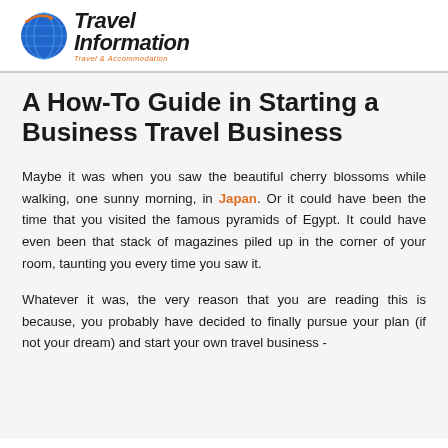[Figure (logo): Travel Information logo with globe icon and orange/blue colors, tagline 'Travel & Accommodation']
A How-To Guide in Starting a Business Travel Business
Maybe it was when you saw the beautiful cherry blossoms while walking, one sunny morning, in Japan. Or it could have been the time that you visited the famous pyramids of Egypt. It could have even been that stack of magazines piled up in the corner of your room, taunting you every time you saw it.
Whatever it was, the very reason that you are reading this is because, you probably have decided to finally pursue your plan (if not your dream) and start your own travel business -